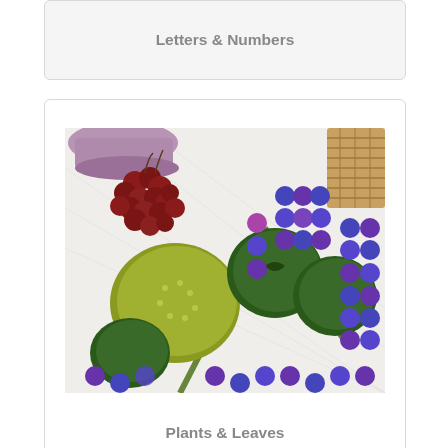Letters & Numbers
[Figure (photo): Close-up photo of a quilt with leaf and grape/circle appliqué patterns in green and purple/blue on white fabric, with real grapes and a basket visible in the top corner]
Plants & Leaves